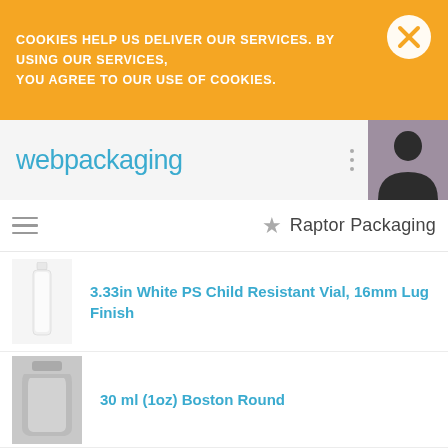COOKIES HELP US DELIVER OUR SERVICES. BY USING OUR SERVICES, YOU AGREE TO OUR USE OF COOKIES.
[Figure (logo): webpackaging logo in teal/cyan color]
[Figure (illustration): User silhouette profile icon on purple background]
★ Raptor Packaging
3.33in White PS Child Resistant Vial, 16mm Lug Finish
[Figure (photo): White PS child resistant vial product photo]
30 ml (1oz) Boston Round
[Figure (photo): 30 ml Boston Round bottle product photo]
30 ml (1oz) Cylinder
[Figure (photo): 30 ml Cylinder bottle product photo]